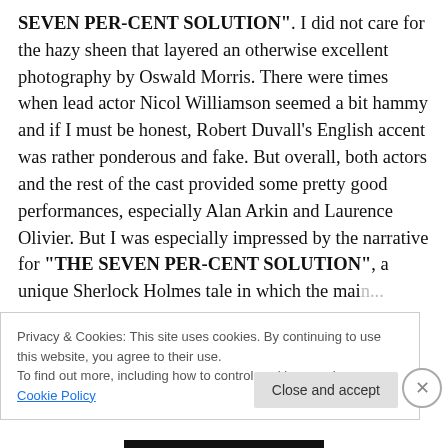SEVEN PER-CENT SOLUTION". I did not care for the hazy sheen that layered an otherwise excellent photography by Oswald Morris. There were times when lead actor Nicol Williamson seemed a bit hammy and if I must be honest, Robert Duvall's English accent was rather ponderous and fake. But overall, both actors and the rest of the cast provided some pretty good performances, especially Alan Arkin and Laurence Olivier. But I was especially impressed by the narrative for "THE SEVEN PER-CENT SOLUTION", a unique Sherlock Holmes tale in which the main content was focused on the detention...
Privacy & Cookies: This site uses cookies. By continuing to use this website, you agree to their use. To find out more, including how to control cookies, see here: Cookie Policy